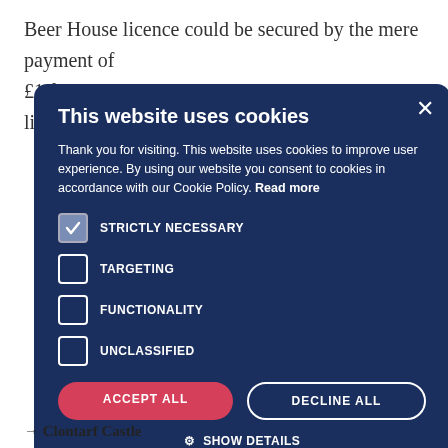Beer House licence could be secured by the mere payment of £1 for a licence with no requirement that the licensee be of
ation for who sold the duct.
e is strictly ormat without author.
[Figure (screenshot): Cookie consent modal dialog with dark navy background. Title: 'This website uses cookies'. Body text: 'Thank you for visiting. This website uses cookies to improve user experience. By using our website you consent to cookies in accordance with our Cookie Policy. Read more'. Four checkboxes: STRICTLY NECESSARY (checked), TARGETING (unchecked), FUNCTIONALITY (unchecked), UNCLASSIFIED (unchecked). Two buttons: ACCEPT ALL (red/pink) and DECLINE ALL (outlined). SHOW DETAILS link at bottom.]
→ Clontarf Castle